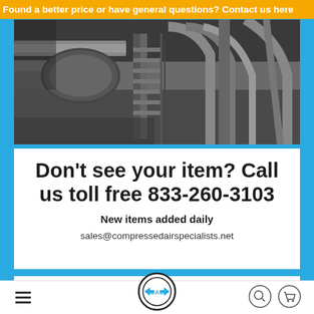Found a better price or have general questions? Contact us here
[Figure (photo): Black and white industrial photo showing pipes, ductwork, and metal staircases in an industrial facility]
Don't see your item? Call us toll free 833-260-3103
New items added daily
sales@compressedairspecialists.net
Other fine products
[Figure (logo): Compressed Air Specialists logo in a circular badge with CAS initials and arrows]
[Figure (other): Search icon (magnifying glass) circle button]
[Figure (other): Cart icon circle button]